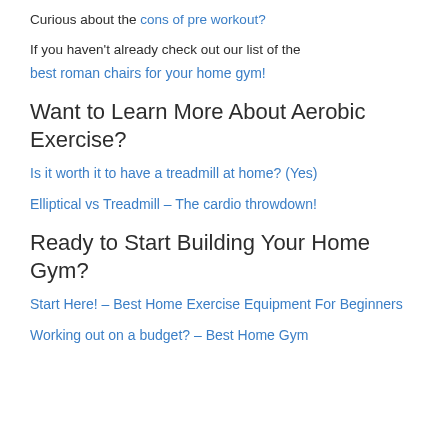Curious about the cons of pre workout?
If you haven't already check out our list of the best roman chairs for your home gym!
Want to Learn More About Aerobic Exercise?
Is it worth it to have a treadmill at home? (Yes)
Elliptical vs Treadmill – The cardio throwdown!
Ready to Start Building Your Home Gym?
Start Here! – Best Home Exercise Equipment For Beginners
Working out on a budget? – Best Home Gym